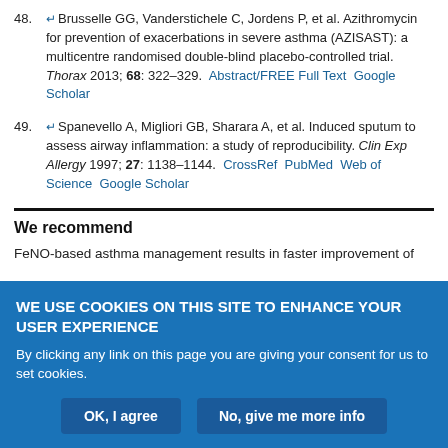48. Brusselle GG, Vanderstichele C, Jordens P, et al. Azithromycin for prevention of exacerbations in severe asthma (AZISAST): a multicentre randomised double-blind placebo-controlled trial. Thorax 2013; 68: 322–329. Abstract/FREE Full Text  Google Scholar
49. Spanevello A, Migliori GB, Sharara A, et al. Induced sputum to assess airway inflammation: a study of reproducibility. Clin Exp Allergy 1997; 27: 1138–1144. CrossRef PubMed Web of Science Google Scholar
We recommend
FeNO-based asthma management results in faster improvement of
WE USE COOKIES ON THIS SITE TO ENHANCE YOUR USER EXPERIENCE
By clicking any link on this page you are giving your consent for us to set cookies.